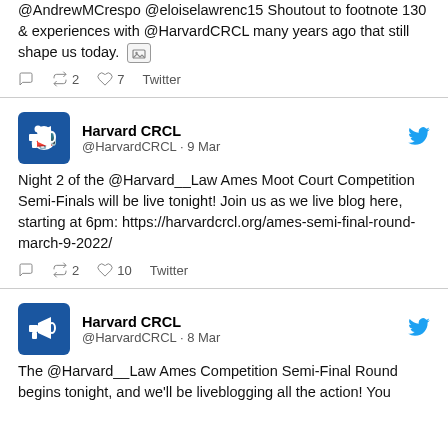@AndrewMCrespo @eloiselawrenc15 Shoutout to footnote 130 & experiences with @HarvardCRCL many years ago that still shape us today. [image]
reply  retweet 2  like 7  Twitter
Harvard CRCL @HarvardCRCL · 9 Mar
Night 2 of the @Harvard__Law Ames Moot Court Competition Semi-Finals will be live tonight! Join us as we live blog here, starting at 6pm: https://harvardcrcl.org/ames-semi-final-round-march-9-2022/
reply  retweet 2  like 10  Twitter
Harvard CRCL @HarvardCRCL · 8 Mar
The @Harvard__Law Ames Competition Semi-Final Round begins tonight, and we'll be liveblogging all the action! You